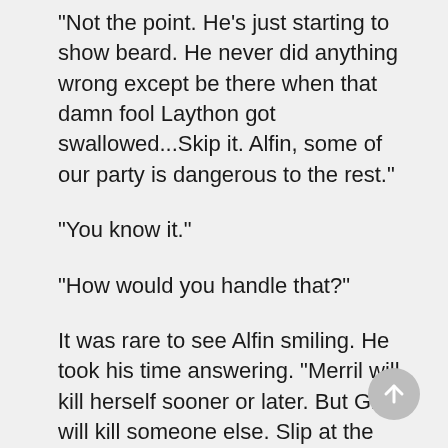"Not the point. He's just starting to show beard. He never did anything wrong except be there when that damn fool Laython got swallowed...Skip it. Alfin, some of our party is dangerous to the rest."
"You know it."
"How would you handle that?"
It was rare to see Alfin smiling. He took his time answering. "Merril will kill herself sooner or later. But Glory will kill someone else. Slip at the wrong time. Easy enough to do something about it. Wait till we're higher, till the tide is weaker. Knock against her when she's off balance. Send her home the fast way."